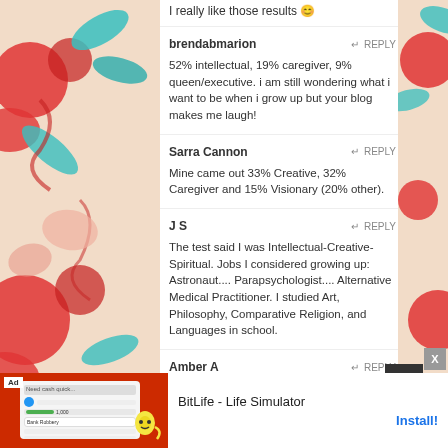I really like those results 😊
brendabmarion
↵ REPLY
52% intellectual, 19% caregiver, 9% queen/executive. i am still wondering what i want to be when i grow up but your blog makes me laugh!
Sarra Cannon
↵ REPLY
Mine came out 33% Creative, 32% Caregiver and 15% Visionary (20% other).
J S
↵ REPLY
The test said I was Intellectual-Creative-Spiritual. Jobs I considered growing up: Astronaut.... Parapsychologist.... Alternative Medical Practitioner. I studied Art, Philosophy, Comparative Religion, and Languages in school.
Amber A
↵ REPLY
[Figure (screenshot): Mobile advertisement banner for BitLife - Life Simulator app showing Install! button]